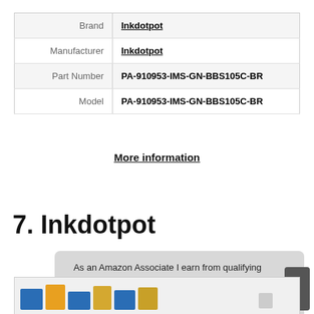|  |  |
| --- | --- |
| Brand | Inkdotpot |
| Manufacturer | Inkdotpot |
| Part Number | PA-910953-IMS-GN-BBS105C-BR |
| Model | PA-910953-IMS-GN-BBS105C-BR |
More information
7. Inkdotpot
As an Amazon Associate I earn from qualifying purchases. This website uses the only necessary cookies to ensure you get the best experience on our website. More information